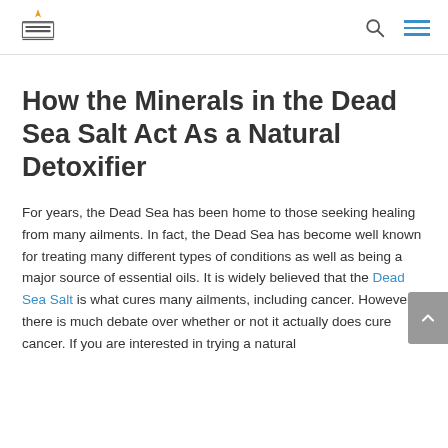Memories Restaurant logo, search icon, menu icon
How the Minerals in the Dead Sea Salt Act As a Natural Detoxifier
For years, the Dead Sea has been home to those seeking healing from many ailments. In fact, the Dead Sea has become well known for treating many different types of conditions as well as being a major source of essential oils. It is widely believed that the Dead Sea Salt is what cures many ailments, including cancer. However, there is much debate over whether or not it actually does cure cancer. If you are interested in trying a natural